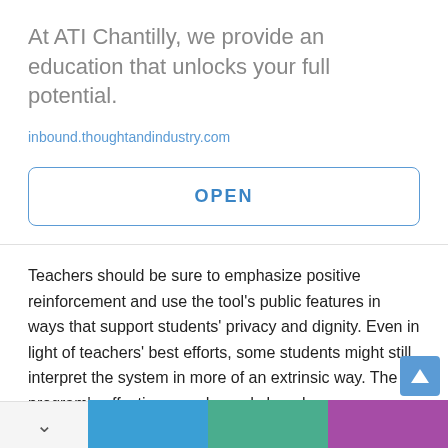At ATI Chantilly, we provide an education that unlocks your full potential.
inbound.thoughtandindustry.com
OPEN
Teachers should be sure to emphasize positive reinforcement and use the tool’s public features in ways that support students’ privacy and dignity. Even in light of teachers’ best efforts, some students might still interpret the system in more of an extrinsic way. The program’s effectiveness depends largely on responsible and consistent use.